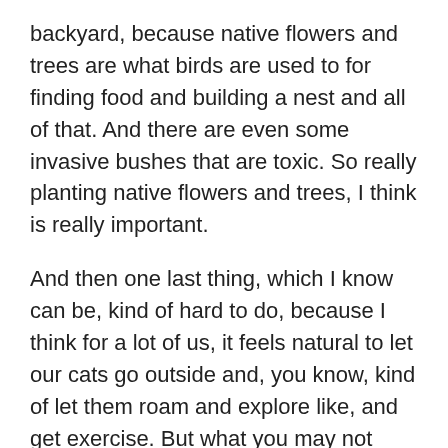backyard, because native flowers and trees are what birds are used to for finding food and building a nest and all of that. And there are even some invasive bushes that are toxic. So really planting native flowers and trees, I think is really important.
And then one last thing, which I know can be, kind of hard to do, because I think for a lot of us, it feels natural to let our cats go outside and, you know, kind of let them roam and explore like, and get exercise. But what you may not know is that a lot of these cats are killing birds. And there was a study and I think it’s in the area of millions or billions of birds every year in the US alone. And this can be pretty easily prevented if you just keep the door closed and said easy, just keeping it close. And there’s other ways to make sure that your cat gets exercise and you can still bring your cat